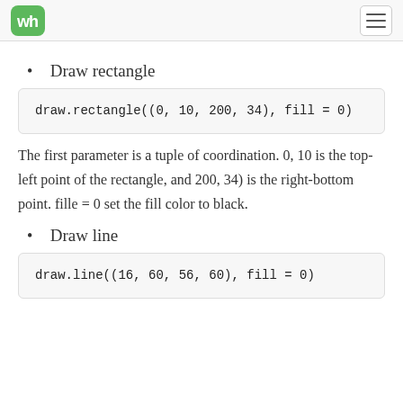WA logo and navigation
Draw rectangle
draw.rectangle((0, 10, 200, 34), fill = 0)
The first parameter is a tuple of coordination. 0, 10 is the top-left point of the rectangle, and 200, 34) is the right-bottom point. fille = 0 set the fill color to black.
Draw line
draw.line((16, 60, 56, 60), fill = 0)